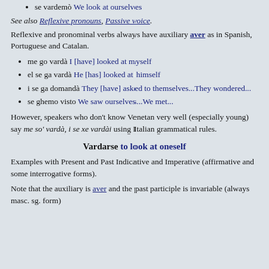se vardemò We look at ourselves
See also Reflexive pronouns, Passive voice.
Reflexive and pronominal verbs always have auxiliary aver as in Spanish, Portuguese and Catalan.
me go vardà I [have] looked at myself
el se ga vardà He [has] looked at himself
i se ga domandà They [have] asked to themselves...They wondered...
se ghemo visto We saw ourselves...We met...
However, speakers who don't know Venetan very well (especially young) say me so' vardà, i se xe vardài using Italian grammatical rules.
Vardarse to look at oneself
Examples with Present and Past Indicative and Imperative (affirmative and some interrogative forms).
Note that the auxiliary is aver and the past participle is invariable (always masc. sg. form)